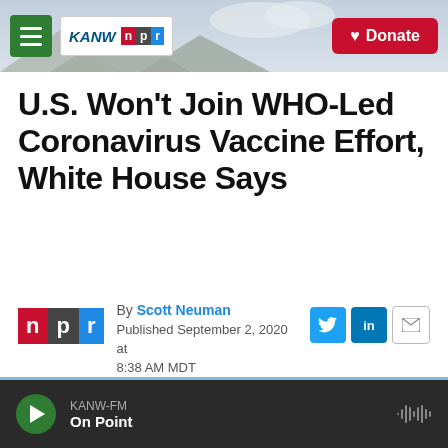[Figure (screenshot): KANW NPR radio station website header with hamburger menu, KANW NPR logo, mountain background, and red Donate button]
U.S. Won't Join WHO-Led Coronavirus Vaccine Effort, White House Says
By Scott Neuman
Published September 2, 2020 at 8:38 AM MDT
[Figure (photo): Outdoor photo showing trees and sky, partial view]
KANW-FM
On Point